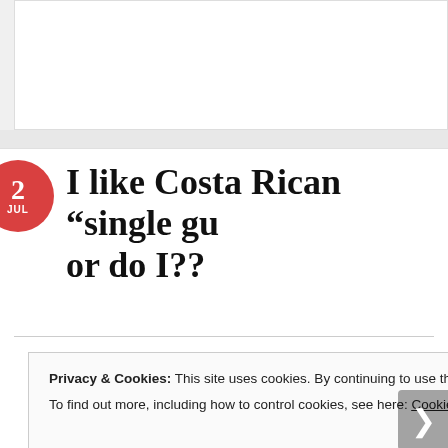[Figure (other): White content box at top of page, partially visible blog post area]
I like Costa Rica’s “single gu… or do I??
Privacy & Cookies: This site uses cookies. By continuing to use this website, you agree to their use.
To find out more, including how to control cookies, see here: Cookie Policy
Close and accept